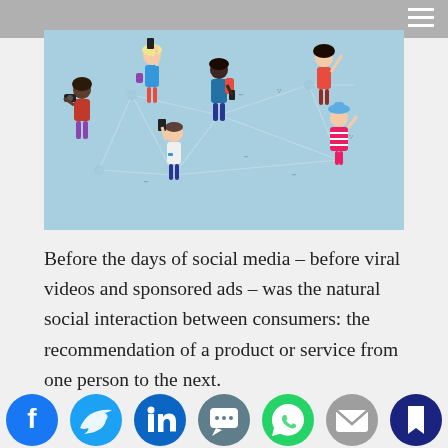[Figure (illustration): Social networking illustration showing diverse people connected by lines on a light blue background, representing social media connections and word-of-mouth communication.]
Before the days of social media – before viral videos and sponsored ads – was the natural social interaction between consumers: the recommendation of a product or service from one person to the next.
[Figure (infographic): Row of social media share buttons: Facebook (blue), Twitter (cyan), LinkedIn (teal), SMS/chat (blue-grey), WhatsApp (green), Email (grey), and another service (dark blue).]